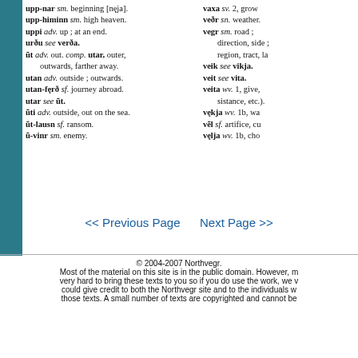upp-nar sm. beginning [nęja].
upp-himinn sm. high heaven.
uppi adv. up; at an end.
urðu see verða.
ūt adv. out. comp. utar, outer, outwards, farther away.
utan adv. outside; outwards.
utan-ferð sf. journey abroad.
utar see ūt.
ūti adv. outside, out on the sea.
ūt-lausn sf. ransom.
ū-vinr sm. enemy.
vaxa sv. 2, grow
veðr sn. weather.
vegr sm. road; direction, side; region, tract, la
veik see vikja.
veit see vita.
veita wv. 1, give, sistance, etc.).
vękja wv. 1b, wa
vēl sf. artifice, cu
vęlja wv. 1b, cho
<< Previous Page   Next Page >>
© 2004-2007 Northvegr. Most of the material on this site is in the public domain. However, m very hard to bring these texts to you so if you do use the work, we v could give credit to both the Northvegr site and to the individuals w those texts. A small number of texts are copyrighted and cannot be